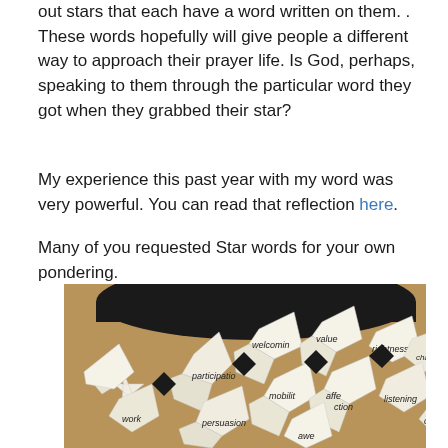out stars that each have a word written on them. . These words hopefully will give people a different way to approach their prayer life. Is God, perhaps, speaking to them through the particular word they got when they grabbed their star?
My experience this past year with my word was very powerful. You can read that reflection here.
Many of you requested Star words for your own pondering.
[Figure (photo): Photo of multiple folded paper stars scattered on a table, each with a word written on them. Visible words include: welcoming, value, rightness, challenge, participation, mobility, affection, listening, work, persuasion, awe, and partially visible others.]